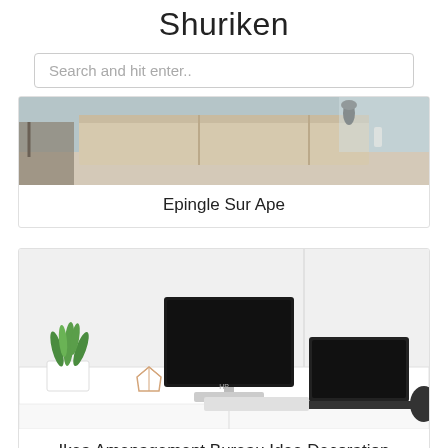Shuriken
Search and hit enter..
[Figure (photo): Interior room with shelving unit, decorative items, and a chair — partial top crop visible]
Epingle Sur Ape
[Figure (photo): Minimalist white desk with a monitor, laptop, keyboard, mouse, a small plant, and a geometric rose-gold decoration piece]
Ikea Amenagement Bureau Idee Decoration Bureau Minimalisto